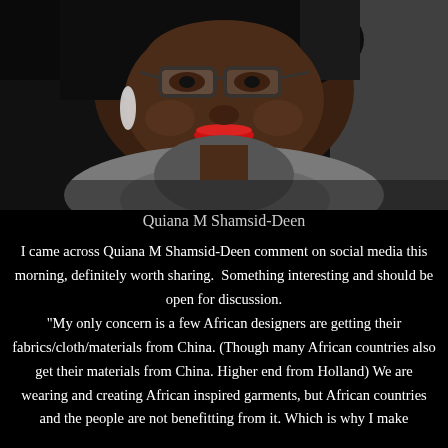[Figure (photo): Close-up portrait photo of Quiana M Shamsid-Deen, a woman wearing glasses, drop earrings, and a grey textured sweater, with red lipstick, photographed from slightly above against a dark background.]
Quiana M Shamsid-Deen
I came across Quiana M Shamsid-Deen comment on social media this morning, definitely worth sharing.  Something interesting and should be open for discussion. "My only concern is a few African designers are getting their fabrics/cloth/materials from China. (Though many African countries also get their materials from China. Higher end from Holland) We are wearing and creating African inspired garments, but African countries and the people are not benefitting from it. Which is why I make